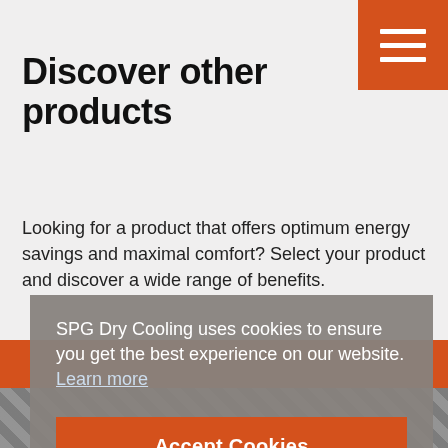[Figure (other): Orange hamburger menu button with three white horizontal lines in the top-right corner]
Discover other products
Looking for a product that offers optimum energy savings and maximal comfort? Select your product and discover a wide range of benefits.
SPG Dry Cooling uses cookies to ensure you get the best experience on our website. Learn more
Accept Cookies
[Figure (photo): Partial view of industrial cooling product at the bottom of the page]